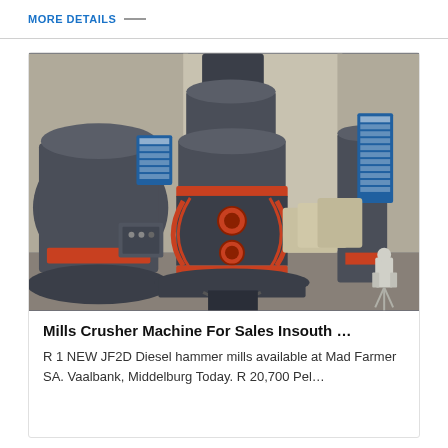MORE DETAILS —
[Figure (photo): Industrial hammer mill / cone crusher machine photographed in a factory setting. The machine is large, dark grey/black with red accent rings and belts. Multiple similar machines visible in background along with sacks of material and warehouse walls with Chinese signage.]
Mills Crusher Machine For Sales Insouth …
R 1 NEW JF2D Diesel hammer mills available at Mad Farmer SA. Vaalbank, Middelburg Today. R 20,700 Pel…